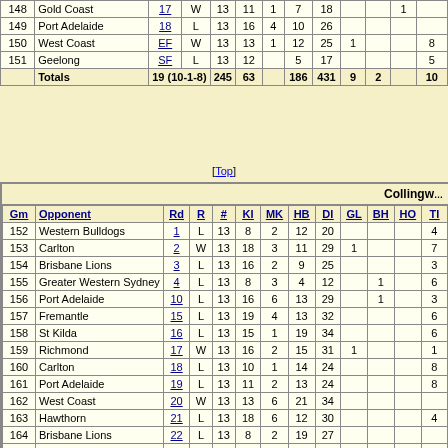| Gm | Opponent | Rd | R | # | KI | MK | HB | DI | GL | BH | HO | TI |
| --- | --- | --- | --- | --- | --- | --- | --- | --- | --- | --- | --- | --- |
| 148 | Gold Coast | 17 | W | 13 | 11 | 1 | 7 | 18 |  |  | 1 |  |
| 149 | Port Adelaide | 18 | L | 13 | 16 | 4 | 10 | 26 |  |  |  |  |
| 150 | West Coast | EF | W | 13 | 13 | 1 | 12 | 25 | 1 |  |  | 8 |
| 151 | Geelong | SF | L | 13 | 12 |  | 5 | 17 |  |  |  | 5 |
| Totals |  | 19 (10-1-8) |  | 245 | 63 |  | 186 | 431 | 9 | 2 |  | 10 |
[Top]
Collingwood
| Gm | Opponent | Rd | R | # | KI | MK | HB | DI | GL | BH | HO | TI |
| --- | --- | --- | --- | --- | --- | --- | --- | --- | --- | --- | --- | --- |
| 152 | Western Bulldogs | 1 | L | 13 | 8 | 2 | 12 | 20 |  |  |  | 4 |
| 153 | Carlton | 2 | W | 13 | 18 | 3 | 11 | 29 | 1 |  |  | 7 |
| 154 | Brisbane Lions | 3 | L | 13 | 16 | 2 | 9 | 25 |  |  |  | 3 |
| 155 | Greater Western Sydney | 4 | L | 13 | 8 | 3 | 4 | 12 |  | 1 |  | 6 |
| 156 | Port Adelaide | 10 | L | 13 | 16 | 6 | 13 | 29 |  | 1 |  | 3 |
| 157 | Fremantle | 15 | L | 13 | 19 | 4 | 13 | 32 |  |  |  | 6 |
| 158 | St Kilda | 16 | L | 13 | 15 | 1 | 19 | 34 |  |  |  | 6 |
| 159 | Richmond | 17 | W | 13 | 16 | 2 | 15 | 31 | 1 |  |  | 1 |
| 160 | Carlton | 18 | L | 13 | 10 | 1 | 14 | 24 |  |  |  | 8 |
| 161 | Port Adelaide | 19 | L | 13 | 11 | 2 | 13 | 24 |  |  |  | 8 |
| 162 | West Coast | 20 | W | 13 | 13 | 6 | 21 | 34 |  |  |  |  |
| 163 | Hawthorn | 21 | L | 13 | 18 | 6 | 12 | 30 |  |  |  | 4 |
| 164 | Brisbane Lions | 22 | L | 13 | 8 | 2 | 19 | 27 |  |  |  |  |
| 165 | Essendon | 23 | L | 13 | 19 | 6 | 12 | 31 |  |  |  | 6 |